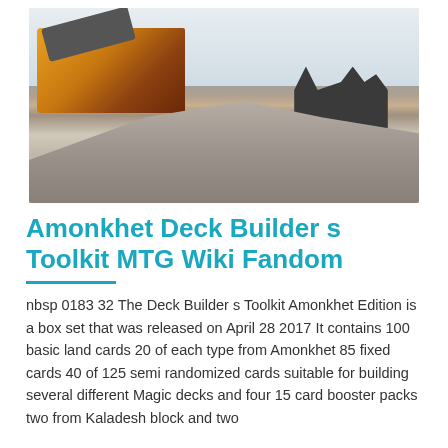[Figure (photo): Industrial machinery with yellow crusher equipment and large pile of gravel/crushed stone, with dark structures and misty mountains in background]
Amonkhet Deck Builder s Toolkit MTG Wiki Fandom
nbsp 0183 32 The Deck Builder s Toolkit Amonkhet Edition is a box set that was released on April 28 2017 It contains 100 basic land cards 20 of each type from Amonkhet 85 fixed cards 40 of 125 semi randomized cards suitable for building several different Magic decks and four 15 card booster packs two from Kaladesh block and two